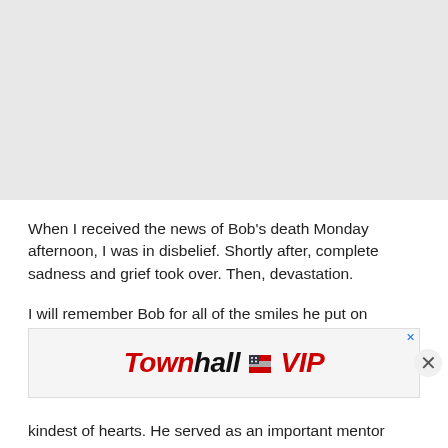[Figure (other): Gray placeholder block at top of page, likely an image or advertisement placeholder]
When I received the news of Bob's death Monday afternoon, I was in disbelief. Shortly after, complete sadness and grief took over. Then, devastation.
I will remember Bob for all of the smiles he put on
[Figure (logo): Townhall VIP advertisement banner with red and black bold italic text and small American flag icon]
kindest of hearts. He served as an important mentor